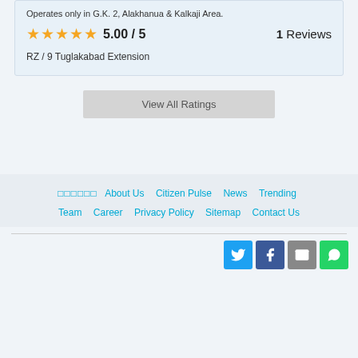Operates only in G.K. 2, Alakhanua & Kalkaji Area.
5.00 / 5   1 Reviews
RZ / 9 Tuglakabad Extension
View All Ratings
□□□□□□  About Us  Citizen Pulse  News  Trending  Team  Career  Privacy Policy  Sitemap  Contact Us